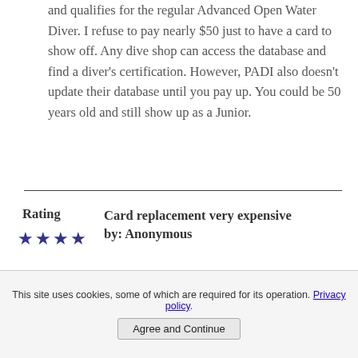and qualifies for the regular Advanced Open Water Diver. I refuse to pay nearly $50 just to have a card to show off. Any dive shop can access the database and find a diver's certification. However, PADI also doesn't update their database until you pay up. You could be 50 years old and still show up as a Junior.
Rating
★★★★
Card replacement very expensive by: Anonymous
The junior to full open water
This site uses cookies, some of which are required for its operation. Privacy policy.
Agree and Continue